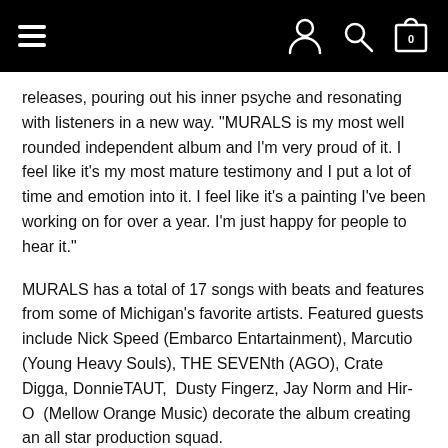Navigation header with hamburger menu, user icon, search icon, and cart icon (0 items)
releases, pouring out his inner psyche and resonating with listeners in a new way. “MURALS is my most well rounded independent album and I’m very proud of it. I feel like it’s my most mature testimony and I put a lot of time and emotion into it. I feel like it’s a painting I’ve been working on for over a year. I’m just happy for people to hear it.”
MURALS has a total of 17 songs with beats and features from some of Michigan’s favorite artists. Featured guests include Nick Speed (Embarco Entartainment), Marcutio (Young Heavy Souls), THE SEVENth (AGO), Crate Digga, DonnieTAUT, Dusty Fingerz, Jay Norm and Hir-O (Mellow Orange Music) decorate the album creating an all star production squad.